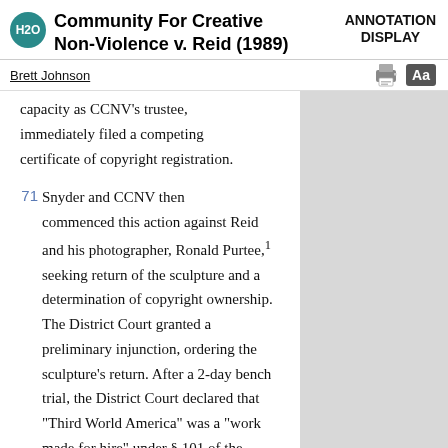Community For Creative Non-Violence v. Reid (1989)
ANNOTATION DISPLAY
Brett Johnson
capacity as CCNV's trustee, immediately filed a competing certificate of copyright registration.
Snyder and CCNV then commenced this action against Reid and his photographer, Ronald Purtee,¹ seeking return of the sculpture and a determination of copyright ownership. The District Court granted a preliminary injunction, ordering the sculpture's return. After a 2-day bench trial, the District Court declared that "Third World America" was a "work made for hire" under § 101 of the Copyright Act and that Snyder...